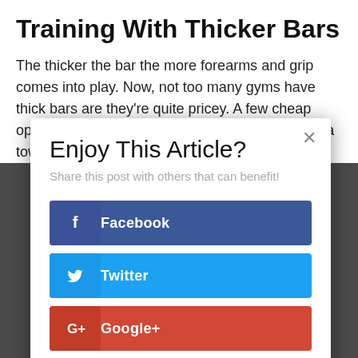Training With Thicker Bars
The thicker the bar the more forearms and grip comes into play. Now, not too many gyms have thick bars are they’re quite pricey. A few cheap options to replicate thick bar training are to wrap a towel around
Enjoy This Article?
Share this post with others that can benefit!
[Figure (infographic): Social share buttons for Facebook, Twitter, Google+, and Pinterest]